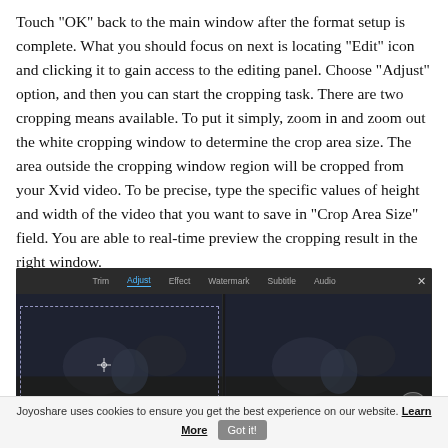Touch "OK" back to the main window after the format setup is complete. What you should focus on next is locating "Edit" icon and clicking it to gain access to the editing panel. Choose "Adjust" option, and then you can start the cropping task. There are two cropping means available. To put it simply, zoom in and zoom out the white cropping window to determine the crop area size. The area outside the cropping window region will be cropped from your Xvid video. To be precise, type the specific values of height and width of the video that you want to save in "Crop Area Size" field. You are able to real-time preview the cropping result in the right window.
[Figure (screenshot): Screenshot of a video editing application showing the Adjust tab selected in the tab bar (Trim, Adjust, Effect, Watermark, Subtitle, Audio), with two video preview panels side by side showing a dark video scene with a dashed crop box overlay on the left panel and a crosshair, and a TOP button circle in the bottom right.]
Joyoshare uses cookies to ensure you get the best experience on our website. Learn More  Got it!